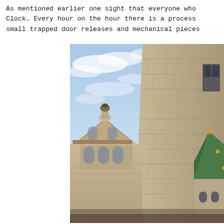As mentioned earlier one sight that everyone who
Clock. Every hour on the hour there is a process
small trapped door releases and mechanical pieces
[Figure (photo): Photograph looking up at stone tower walls and architectural details of historic Prague buildings against a blue sky with clouds. On the left is a decorative stone structure with arched windows and ornamental top. On the right is a tall stone tower wall and a green-roofed turret with golden decorations.]